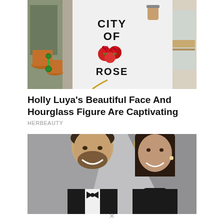[Figure (photo): Person photographed from behind wearing a white long-sleeve top with 'CITY OF ROSES' text and red rose graphic, holding a coffee cup, standing on a sidewalk]
Holly Luya's Beautiful Face And Hourglass Figure Are Captivating
HERBEAUTY
[Figure (photo): Man in black tuxedo with bow tie and woman with short dark hair in black turtleneck, smiling, photographed at what appears to be a red carpet event with Oscar statue visible in background]